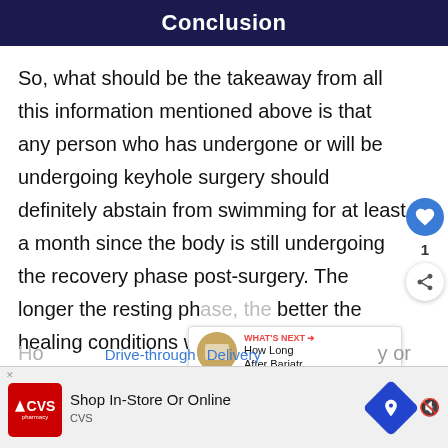Conclusion
So, what should be the takeaway from all this information mentioned above is that any person who has undergone or will be undergoing keyhole surgery should definitely abstain from swimming for at least a month since the body is still undergoing the recovery phase post-surgery. The longer the resting phase, the better the healing conditions will get.
[Figure (screenshot): CVS Pharmacy advertisement bar at the bottom of the page with 'Shop In-Store Or Online CVS' text and navigation icons.]
[Figure (screenshot): What's Next panel showing 'How Long After Bariatr...' article preview with an image and share/like buttons on the right sidebar.]